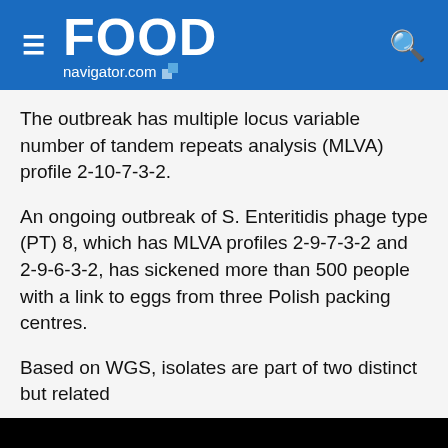FOOD navigator.com
The outbreak has multiple locus variable number of tandem repeats analysis (MLVA) profile 2-10-7-3-2.
An ongoing outbreak of S. Enteritidis phage type (PT) 8, which has MLVA profiles 2-9-7-3-2 and 2-9-6-3-2, has sickened more than 500 people with a link to eggs from three Polish packing centres.
Based on WGS, isolates are part of two distinct but related
This website uses cookies. By continuing to browse our website, you are agreeing to our use of cookies. You can learn more about cookies by visiting our privacy & cookies policy page.